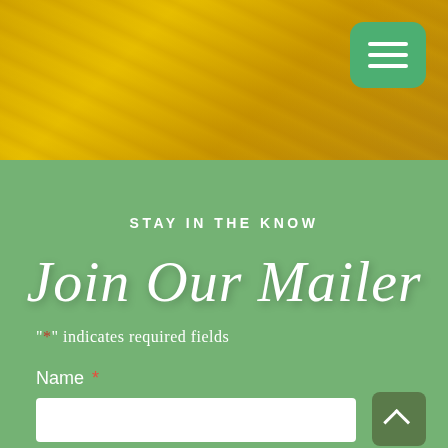[Figure (screenshot): Yellow/golden textured hero banner with green hamburger menu button in top-right corner]
STAY IN THE KNOW
Join Our Mailer
"*" indicates required fields
Name *
[Figure (other): Scroll-to-top button (dark green, arrow up) in bottom-right corner]